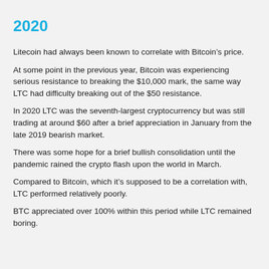2020
Litecoin had always been known to correlate with Bitcoin’s price.
At some point in the previous year, Bitcoin was experiencing serious resistance to breaking the $10,000 mark, the same way LTC had difficulty breaking out of the $50 resistance.
In 2020 LTC was the seventh-largest cryptocurrency but was still trading at around $60 after a brief appreciation in January from the late 2019 bearish market.
There was some hope for a brief bullish consolidation until the pandemic rained the crypto flash upon the world in March.
Compared to Bitcoin, which it’s supposed to be a correlation with, LTC performed relatively poorly.
BTC appreciated over 100% within this period while LTC remained boring.